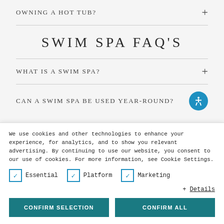OWNING A HOT TUB?
SWIM SPA FAQ'S
WHAT IS A SWIM SPA?
CAN A SWIM SPA BE USED YEAR-ROUND?
We use cookies and other technologies to enhance your experience, for analytics, and to show you relevant advertising. By continuing to use our website, you consent to our use of cookies. For more information, see Cookie Settings.
Essential   Platform   Marketing
+ Details
CONFIRM SELECTION   CONFIRM ALL